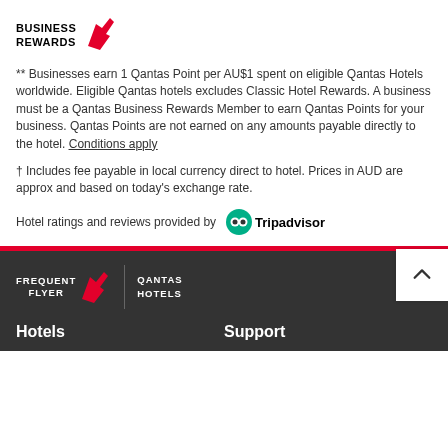[Figure (logo): Qantas Business Rewards logo with kangaroo tail icon]
** Businesses earn 1 Qantas Point per AU$1 spent on eligible Qantas Hotels worldwide. Eligible Qantas hotels excludes Classic Hotel Rewards. A business must be a Qantas Business Rewards Member to earn Qantas Points for your business. Qantas Points are not earned on any amounts payable directly to the hotel. Conditions apply
† Includes fee payable in local currency direct to hotel. Prices in AUD are approx and based on today's exchange rate.
Hotel ratings and reviews provided by Tripadvisor
[Figure (logo): Qantas Frequent Flyer | Qantas Hotels footer logo]
Hotels
Support